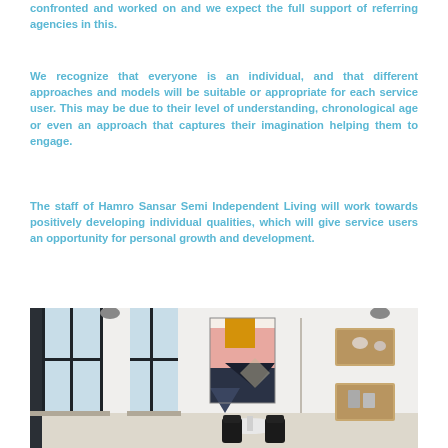confronted and worked on and we expect the full support of referring agencies in this.
We recognize that everyone is an individual, and that different approaches and models will be suitable or appropriate for each service user. This may be due to their level of understanding, chronological age or even an approach that captures their imagination helping them to engage.
The staff of Hamro Sansar Semi Independent Living will work towards positively developing individual qualities, which will give service users an opportunity for personal growth and development.
[Figure (photo): Interior room photo showing a modern apartment with large windows, a geometric colorful artwork on the wall, a small white round table with black chairs, and wooden wall-mounted shelving units on the right.]